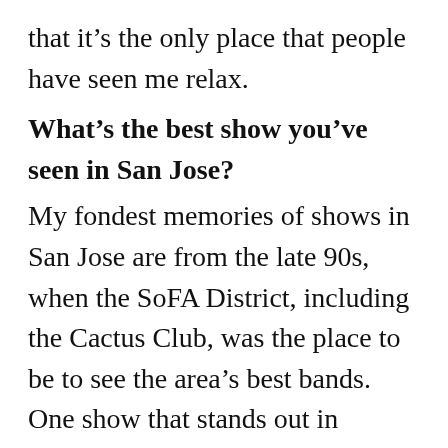that it's the only place that people have seen me relax.
What's the best show you've seen in San Jose?
My fondest memories of shows in San Jose are from the late 90s, when the SoFA District, including the Cactus Club, was the place to be to see the area's best bands. One show that stands out in particular